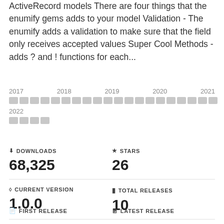ActiveRecord models There are four things that the enumify gems adds to your model Validation - The enumify adds a validation to make sure that the field only receives accepted values Super Cool Methods - adds ? and ! functions for each...
[Figure (other): Activity bar chart showing commit/release activity across years 2017, 2018, 2019, 2020, 2021, 2022 as rows of small grey squares]
DOWNLOADS
68,325
STARS
26
CURRENT VERSION
1.0.0
TOTAL RELEASES
10
FIRST RELEASE
LATEST RELEASE